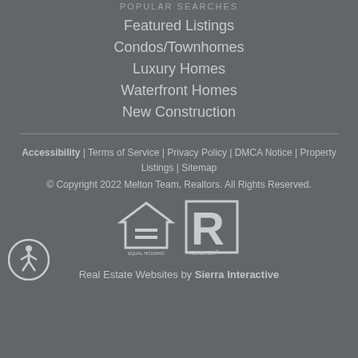POPULAR SEARCHES
Featured Listings
Condos/Townhomes
Luxury Homes
Waterfront Homes
New Construction
Accessibility  |  Terms of Service  |  Privacy Policy  |  DMCA Notice  |  Property Listings  |  Sitemap
© Copyright 2022 Melton Team, Realtors. All Rights Reserved.
Real Estate Websites by Sierra Interactive